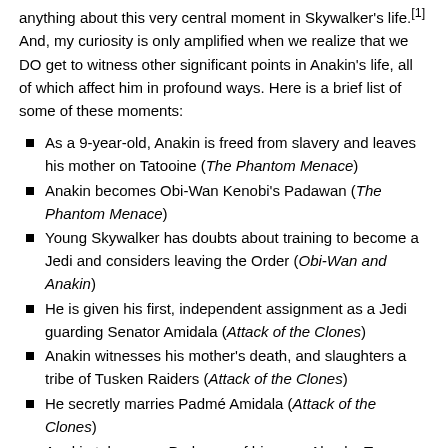anything about this very central moment in Skywalker's life.[1] And, my curiosity is only amplified when we realize that we DO get to witness other significant points in Anakin's life, all of which affect him in profound ways. Here is a brief list of some of these moments:
As a 9-year-old, Anakin is freed from slavery and leaves his mother on Tatooine (The Phantom Menace)
Anakin becomes Obi-Wan Kenobi's Padawan (The Phantom Menace)
Young Skywalker has doubts about training to become a Jedi and considers leaving the Order (Obi-Wan and Anakin)
He is given his first, independent assignment as a Jedi guarding Senator Amidala (Attack of the Clones)
Anakin witnesses his mother's death, and slaughters a tribe of Tusken Raiders (Attack of the Clones)
He secretly marries Padmé Amidala (Attack of the Clones)
Anakin takes on a Padawan of his own, Ahsoka Tano (The Clone Wars movie)
Anakin watches as Ahsoka walks away from the Jedi Order